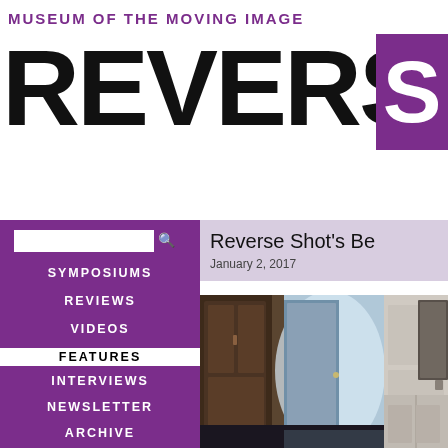MUSEUM OF THE MOVING IMAGE
REVERSE S
Reverse Shot's Be
January 2, 2017
SYMPOSIUMS
REVIEWS
VIDEOS
FEATURES
INTERVIEWS
NEWSLETTER
ARCHIVE
[Figure (photo): Interior photograph showing a hallway with an open door lit from behind, ornate wooden cabinet/wardrobe on the left, and white paneled walls.]